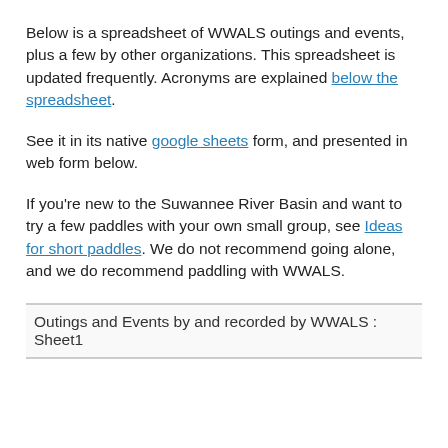Below is a spreadsheet of WWALS outings and events, plus a few by other organizations. This spreadsheet is updated frequently. Acronyms are explained below the spreadsheet.
See it in its native google sheets form, and presented in web form below.
If you're new to the Suwannee River Basin and want to try a few paddles with your own small group, see Ideas for short paddles. We do not recommend going alone, and we do recommend paddling with WWALS.
Outings and Events by and recorded by WWALS : Sheet1